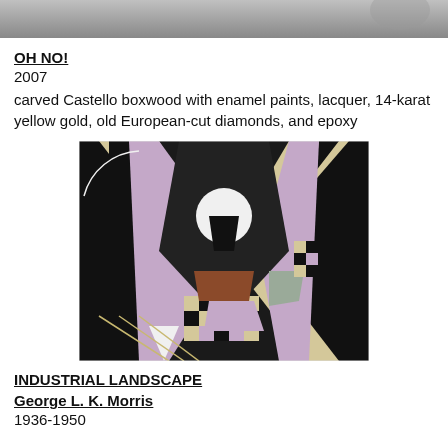[Figure (photo): Partial top of a photograph, gray tones, cropped]
OH NO!
2007
carved Castello boxwood with enamel paints, lacquer, 14-karat yellow gold, old European-cut diamonds, and epoxy
[Figure (photo): Abstract geometric painting with black, white, cream, lavender, and brown angular shapes forming a tunnel-like perspective, by George L. K. Morris]
INDUSTRIAL LANDSCAPE
George L. K. Morris
1936-1950